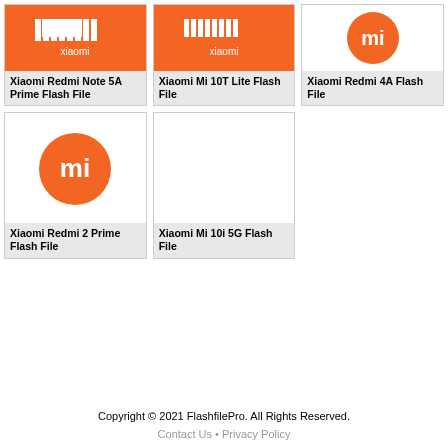[Figure (logo): Xiaomi logo on orange background - horizontal wordmark with white bars]
Xiaomi Redmi Note 5A Prime Flash File
[Figure (logo): Xiaomi logo on orange background - horizontal wordmark with white bars]
Xiaomi Mi 10T Lite Flash File
[Figure (logo): Xiaomi MI circular logo on white background]
Xiaomi Redmi 4A Flash File
[Figure (logo): Xiaomi MI circular logo on white background - orange circle with white MI]
Xiaomi Redmi 2 Prime Flash File
[Figure (logo): Empty white image area]
Xiaomi Mi 10i 5G Flash File
Copyright © 2021 FlashfilePro. All Rights Reserved.
Contact Us • Privacy Policy